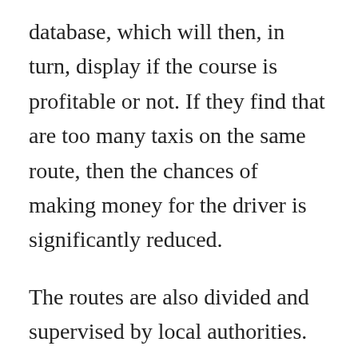database, which will then, in turn, display if the course is profitable or not. If they find that are too many taxis on the same route, then the chances of making money for the driver is significantly reduced.
The routes are also divided and supervised by local authorities. Still, the task of the taxi association is to keep a close look at ensuring that there are not too many drivers on the same route. They essentially ensure that the ways are useful. This also ensures that no problems emerge among drivers,